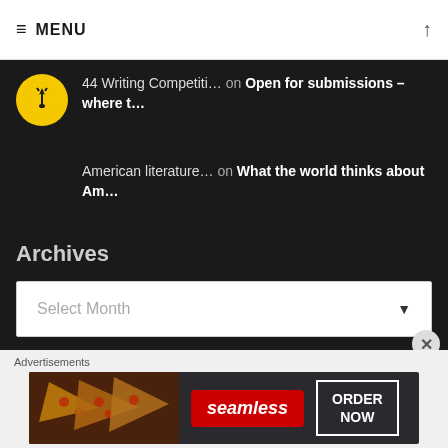≡ MENU ↑
44 Writing Competiti… on Open for submissions – where t…
American literature… on What the world thinks about Am…
Archives
Select Month
Categories
[Figure (other): Seamless food ordering advertisement banner with pizza image, red Seamless logo, and ORDER NOW button]
Advertisements